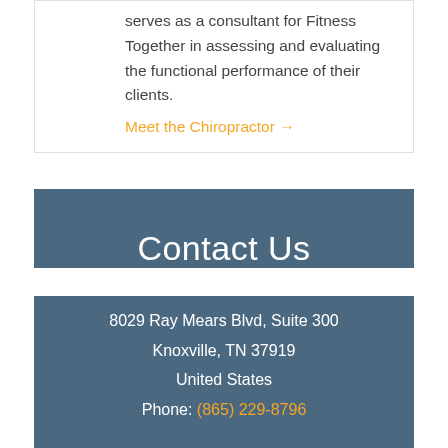serves as a consultant for Fitness Together in assessing and evaluating the functional performance of their clients.
Meet the Chiropractor →
Contact Us
8029 Ray Mears Blvd, Suite 300
Knoxville, TN 37919
United States
Phone: (865) 229-8796